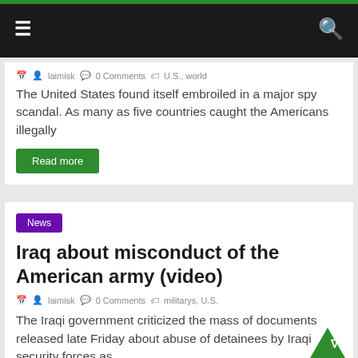☰  🔍
The United States found itself embroiled in a major spy scandal. As many as five countries caught the Americans illegally
Read more
News
Iraq about misconduct of the American army (video)
laimisk  0 Comments  militarys, U.S.
The Iraqi government criticized the mass of documents released late Friday about abuse of detainees by Iraqi security forces as